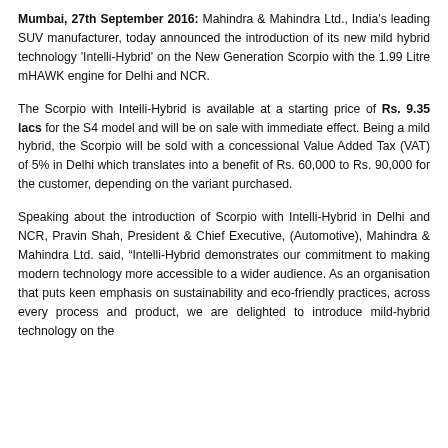Mumbai, 27th September 2016: Mahindra & Mahindra Ltd., India's leading SUV manufacturer, today announced the introduction of its new mild hybrid technology 'Intelli-Hybrid' on the New Generation Scorpio with the 1.99 Litre mHAWK engine for Delhi and NCR.
The Scorpio with Intelli-Hybrid is available at a starting price of Rs. 9.35 lacs for the S4 model and will be on sale with immediate effect. Being a mild hybrid, the Scorpio will be sold with a concessional Value Added Tax (VAT) of 5% in Delhi which translates into a benefit of Rs. 60,000 to Rs. 90,000 for the customer, depending on the variant purchased.
Speaking about the introduction of Scorpio with Intelli-Hybrid in Delhi and NCR, Pravin Shah, President & Chief Executive, (Automotive), Mahindra & Mahindra Ltd. said, "Intelli-Hybrid demonstrates our commitment to making modern technology more accessible to a wider audience. As an organisation that puts keen emphasis on sustainability and eco-friendly practices, across every process and product, we are delighted to introduce mild-hybrid technology on the